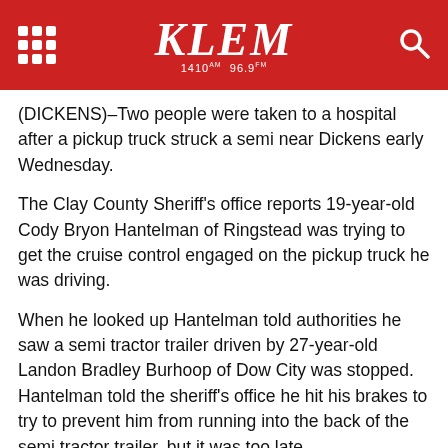KLEM 1410 AM 96.9 FM
(DICKENS)–Two people were taken to a hospital after a pickup truck struck a semi near Dickens early Wednesday.
The Clay County Sheriff's office reports 19-year-old Cody Bryon Hantelman of Ringstead was trying to get the cruise control engaged on the pickup truck he was driving.
When he looked up Hantelman told authorities he saw a semi tractor trailer driven by 27-year-old Landon Bradley Burhoop of Dow City was stopped. Hantelman told the sheriff's office he hit his brakes to try to prevent him from running into the back of the semi tractor trailer, but it was too late.
The impact of the crash caused the truck's cab to be sheared back into the passenger compartment. The passenger, Skylor Matthew Rice, had to be extricated by Dicken's Fire and Rescue. Rice and Hantelman were taken to a hospital in Spencer, where they are. Rice and